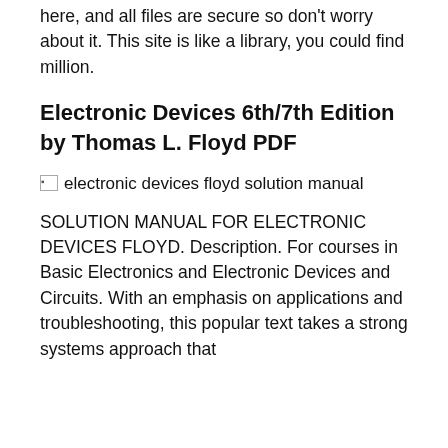here, and all files are secure so don't worry about it. This site is like a library, you could find million.
Electronic Devices 6th/7th Edition by Thomas L. Floyd PDF
[Figure (photo): Broken image placeholder with alt text: electronic devices floyd solution manual]
SOLUTION MANUAL FOR ELECTRONIC DEVICES FLOYD. Description. For courses in Basic Electronics and Electronic Devices and Circuits. With an emphasis on applications and troubleshooting, this popular text takes a strong systems approach that